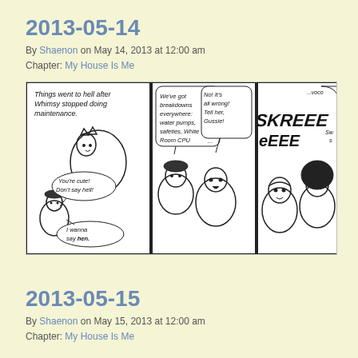2013-05-14
By Shaenon on May 14, 2013 at 12:00 am
Chapter: My House Is Me
[Figure (illustration): Comic strip with three panels. Panel 1: Character says 'Things went to hell after Whimsy stopped doing maintenance.' with smaller character saying 'You're cute! Don't say hell!' and another saying 'I wanna say hen.' Panel 2: Characters discussing breakdowns with speech bubble 'We've got breakdowns everywhere: water pumps, safeties, White Room CPU...' and another saying 'No! It's all wrong! Tell her, Gussie!' Panel 3: Large sound effect 'SKREEEEEE' with characters reacting, partial speech bubble '...voco' and 'Sw s']
2013-05-15
By Shaenon on May 15, 2013 at 12:00 am
Chapter: My House Is Me